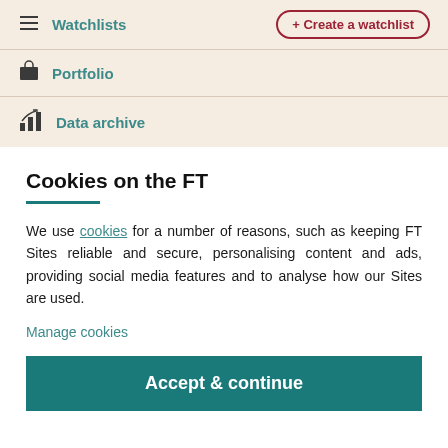Watchlists  + Create a watchlist
Portfolio
Data archive
Cookies on the FT
We use cookies for a number of reasons, such as keeping FT Sites reliable and secure, personalising content and ads, providing social media features and to analyse how our Sites are used.
Manage cookies
Accept & continue